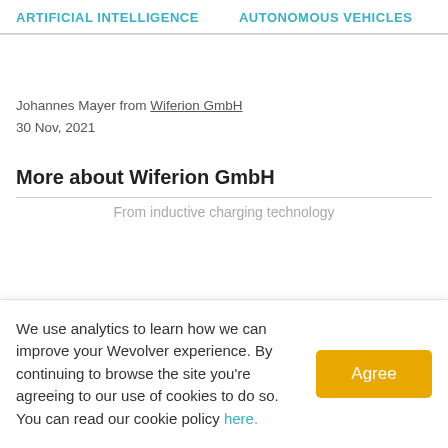ARTIFICIAL INTELLIGENCE   AUTONOMOUS VEHICLES   RO...
Johannes Mayer from Wiferion GmbH
30 Nov, 2021
More about Wiferion GmbH
From inductive charging technology
We use analytics to learn how we can improve your Wevolver experience. By continuing to browse the site you're agreeing to our use of cookies to do so. You can read our cookie policy here.